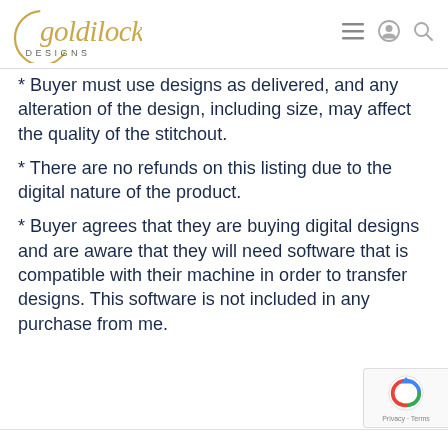goldilocks DESIGNS
* Buyer must use designs as delivered, and any alteration of the design, including size, may affect the quality of the stitchout.
* There are no refunds on this listing due to the digital nature of the product.
* Buyer agrees that they are buying digital designs and are aware that they will need software that is compatible with their machine in order to transfer designs. This software is not included in any purchase from me.
[Figure (logo): reCAPTCHA badge with Privacy and Terms links]